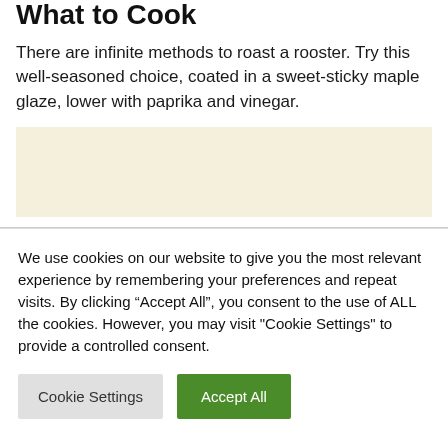What to Cook
There are infinite methods to roast a rooster. Try this well-seasoned choice, coated in a sweet-sticky maple glaze, lower with paprika and vinegar.
[Figure (other): Advertisement placeholder box with cream/beige background]
We use cookies on our website to give you the most relevant experience by remembering your preferences and repeat visits. By clicking “Accept All”, you consent to the use of ALL the cookies. However, you may visit "Cookie Settings" to provide a controlled consent.